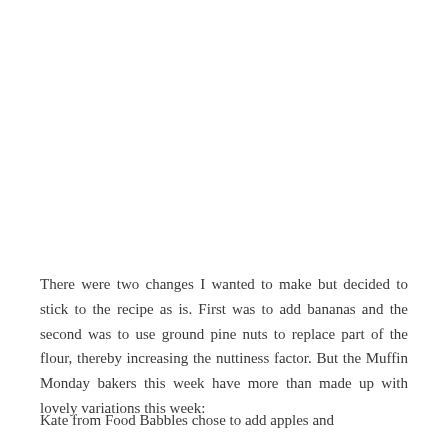There were two changes I wanted to make but decided to stick to the recipe as is. First was to add bananas and the second was to use ground pine nuts to replace part of the flour, thereby increasing the nuttiness factor. But the Muffin Monday bakers this week have more than made up with lovely variations this week:
Kate from Food Babbles chose to add apples and